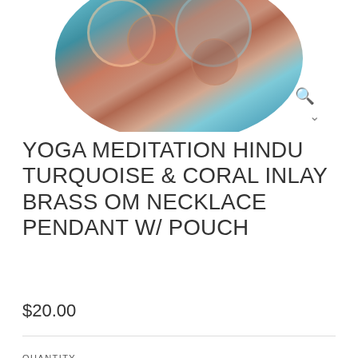[Figure (photo): Circular decorative pendant with turquoise, coral, and brass inlay pattern showing an Om/Hindu design with colorful circular motifs]
YOGA MEDITATION HINDU TURQUOISE & CORAL INLAY BRASS OM NECKLACE PENDANT W/ POUCH
$20.00
QUANTITY
- 1 +
ADD TO CART